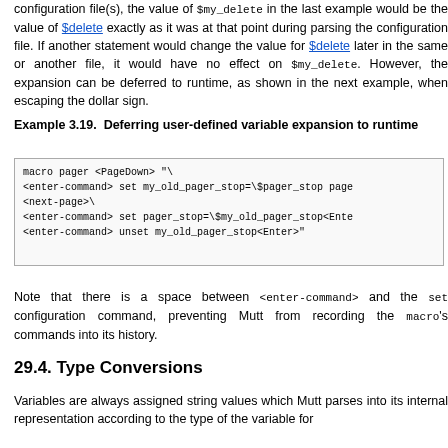configuration file(s), the value of $my_delete in the last example would be the value of $delete exactly as it was at that point during parsing the configuration file. If another statement would change the value for $delete later in the same or another file, it would have no effect on $my_delete. However, the expansion can be deferred to runtime, as shown in the next example, when escaping the dollar sign.
Example 3.19. Deferring user-defined variable expansion to runtime
[Figure (screenshot): Code block showing macro pager keybinding example with enter-command, next-page, and unset commands using escaped dollar signs]
Note that there is a space between <enter-command> and the set configuration command, preventing Mutt from recording the macro's commands into its history.
29.4. Type Conversions
Variables are always assigned string values which Mutt parses into its internal representation according to the type of the variable for